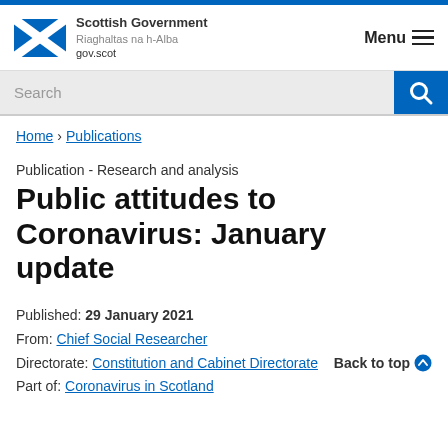Scottish Government Riaghaltas na h-Alba gov.scot Menu
Search
Home > Publications
Publication - Research and analysis
Public attitudes to Coronavirus: January update
Published: 29 January 2021
From: Chief Social Researcher
Directorate: Constitution and Cabinet Directorate
Part of: Coronavirus in Scotland